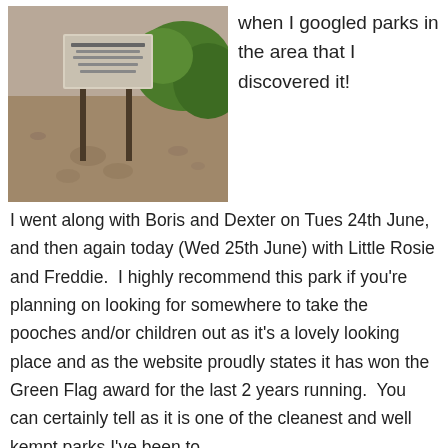[Figure (photo): Photo of a park sign on two posts, dirt ground with footprints, green bushes in background]
when I googled parks in the area that I discovered it!
I went along with Boris and Dexter on Tues 24th June, and then again today (Wed 25th June) with Little Rosie and Freddie.  I highly recommend this park if you're planning on looking for somewhere to take the pooches and/or children out as it's a lovely looking place and as the website proudly states it has won the Green Flag award for the last 2 years running.  You can certainly tell as it is one of the cleanest and well kempt parks I've been to.
[Figure (photo): Photo of a park with open sky, white clouds, trees and grass in the foreground]
It has a bowling green, play areas, toilets, quiet areas of grass land and a couple of large open